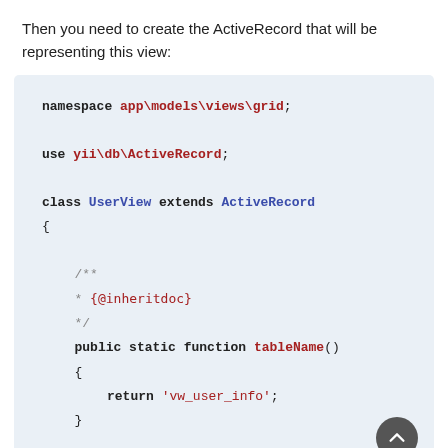Then you need to create the ActiveRecord that will be representing this view:
[Figure (screenshot): Code block showing PHP class definition: namespace app\models\views\grid; use yii\db\ActiveRecord; class UserView extends ActiveRecord { /** * {@inheritdoc} */ public static function tableName() { return 'vw_user_info'; } public static function primaryKey() { {]